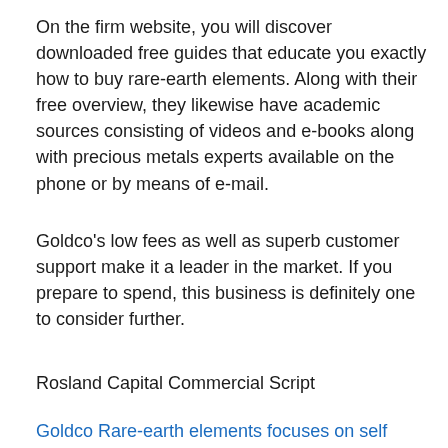On the firm website, you will discover downloaded free guides that educate you exactly how to buy rare-earth elements. Along with their free overview, they likewise have academic sources consisting of videos and e-books along with precious metals experts available on the phone or by means of e-mail.
Goldco's low fees as well as superb customer support make it a leader in the market. If you prepare to spend, this business is definitely one to consider further.
Rosland Capital Commercial Script
Goldco Rare-earth elements focuses on self